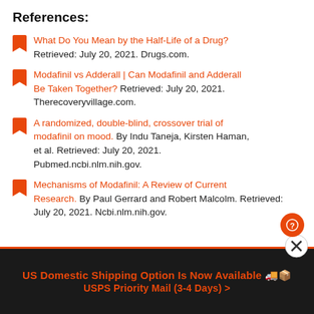References:
What Do You Mean by the Half-Life of a Drug? Retrieved: July 20, 2021. Drugs.com.
Modafinil vs Adderall | Can Modafinil and Adderall Be Taken Together? Retrieved: July 20, 2021. Therecoveryvillage.com.
A randomized, double-blind, crossover trial of modafinil on mood. By Indu Taneja, Kirsten Haman, et al. Retrieved: July 20, 2021. Pubmed.ncbi.nlm.nih.gov.
Mechanisms of Modafinil: A Review of Current Research. By Paul Gerrard and Robert Malcolm. Retrieved: July 20, 2021. Ncbi.nlm.nih.gov.
US Domestic Shipping Option Is Now Available 🚚📦 USPS Priority Mail (3-4 Days) >